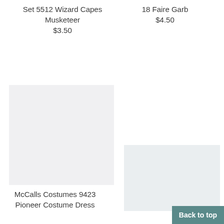Set 5512 Wizard Capes Musketeer
$3.50
18 Faire Garb
$4.50
[Figure (photo): Product image placeholder for McCalls Costumes, left column]
[Figure (photo): Product image placeholder, right column]
McCalls Costumes 9423
Pioneer Costume Dress
Back to top